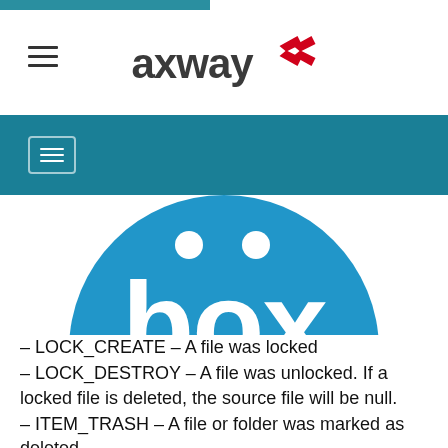[Figure (logo): Axway logo with red arrow icon and 'axway' text in dark gray]
[Figure (logo): Box.com logo — large blue circle with white 'box' text]
– LOCK_CREATE – A file was locked
– LOCK_DESTROY – A file was unlocked. If a locked file is deleted, the source file will be null.
– ITEM_TRASH – A file or folder was marked as deleted
– ITEM_UNDELETE_VIA_TRASH – A